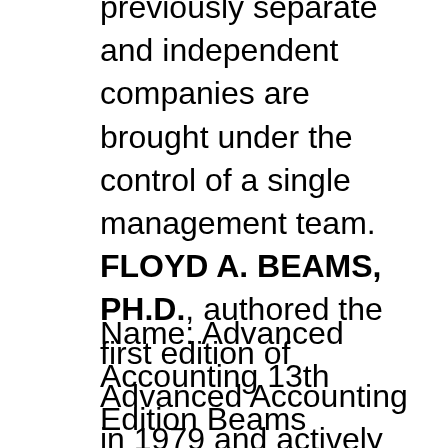previously separate and independent companies are brought under the control of a single management team. FLOYD A. BEAMS, PH.D., authored the first edition of Advanced Accounting in 1979 and actively revised his text through the next six revisions and twenty-one years while main-taining an active professional and academic career at Virginia Tech where he rose to the rank of Professor, retiring in 1995.
Name: Advanced Accounting 13th Edition Beams Solutions Manual If you have any questions, or would like a receive a sample chapter before your purchase, please contact us at [email protected] Reviews 09/05/2011B B· This